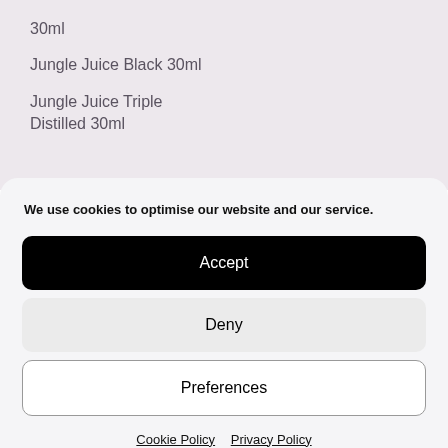30ml
Jungle Juice Black 30ml
Jungle Juice Triple Distilled 30ml
We use cookies to optimise our website and our service.
Accept
Deny
Preferences
Cookie Policy   Privacy Policy